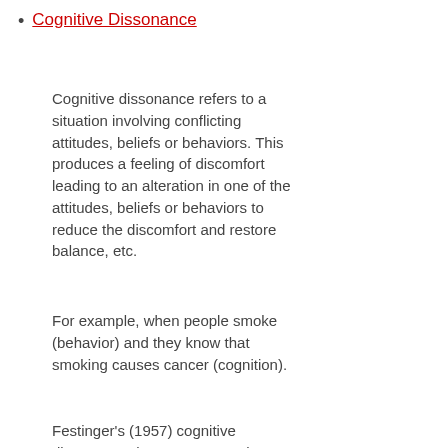Cognitive Dissonance
Cognitive dissonance refers to a situation involving conflicting attitudes, beliefs or behaviors. This produces a feeling of discomfort leading to an alteration in one of the attitudes, beliefs or behaviors to reduce the discomfort and restore balance, etc.
For example, when people smoke (behavior) and they know that smoking causes cancer (cognition).
Festinger's (1957) cognitive dissonance theory suggests that we have an inner drive to hold all our attitudes and beliefs in harmony and avoid dissonance (or inconsistency).